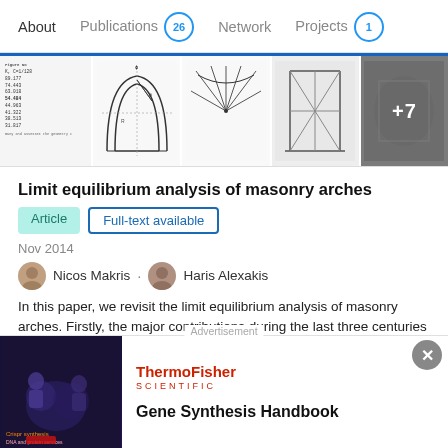About  Publications 26  Network  Projects 1
[Figure (screenshot): Image strip showing 5 thumbnail images of a published paper: a data table, geometric arch diagrams, structural drawings, and a greyscale photo, with '+7' overlay on the last visible thumbnail.]
Limit equilibrium analysis of masonry arches
Article  Full-text available
Nov 2014
Nicos Makris · Haris Alexakis
In this paper, we revisit the limit equilibrium analysis of masonry arches. Firstly, the major contributions during the last three centuries associated with geometric and energy formulations are discussed, and subsequently, the paper explains that the problem of determining the minimum thickness of a masonry arch capable to support its own weight b
[Figure (screenshot): Advertisement banner for ThermoFisher Scientific Gene Synthesis Handbook with dark background image on left and logo/title on right.]